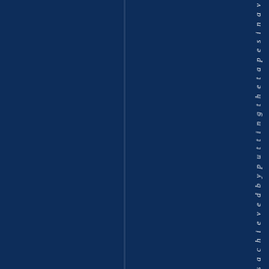[Figure (other): Dark navy blue background with a thin vertical white line dividing the page, and vertical italic text reading 's a c h i e v e d b y p u t t i n g t h e t a p e s i n a v' running along the right side of the page]
s achieved by putting the tapesi nav